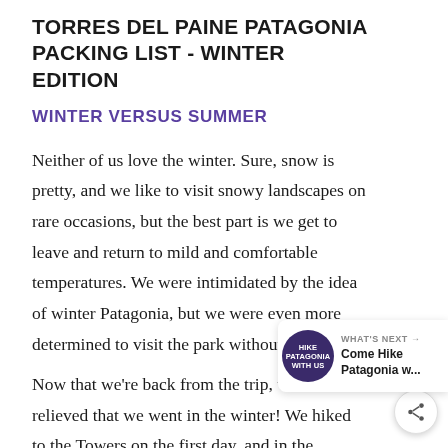TORRES DEL PAINE PATAGONIA PACKING LIST - WINTER EDITION
WINTER VERSUS SUMMER
Neither of us love the winter. Sure, snow is pretty, and we like to visit snowy landscapes on rare occasions, but the best part is we get to leave and return to mild and comfortable temperatures. We were intimidated by the idea of winter Patagonia, but we were even more determined to visit the park without the crowds.
Now that we're back from the trip, we're so relieved that we went in the winter! We hiked to the Towers on the first day, and in the summer, there are usually 800-1000 people on that trail each day. We